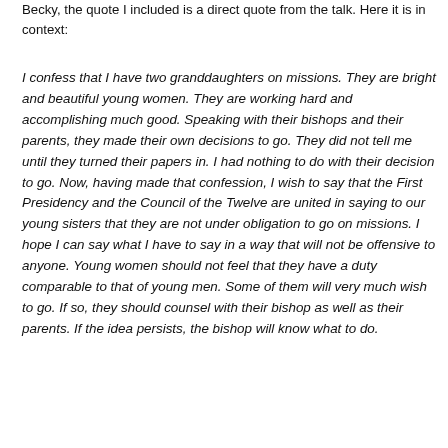Becky, the quote I included is a direct quote from the talk. Here it is in context:
I confess that I have two granddaughters on missions. They are bright and beautiful young women. They are working hard and accomplishing much good. Speaking with their bishops and their parents, they made their own decisions to go. They did not tell me until they turned their papers in. I had nothing to do with their decision to go. Now, having made that confession, I wish to say that the First Presidency and the Council of the Twelve are united in saying to our young sisters that they are not under obligation to go on missions. I hope I can say what I have to say in a way that will not be offensive to anyone. Young women should not feel that they have a duty comparable to that of young men. Some of them will very much wish to go. If so, they should counsel with their bishop as well as their parents. If the idea persists, the bishop will know what to do.